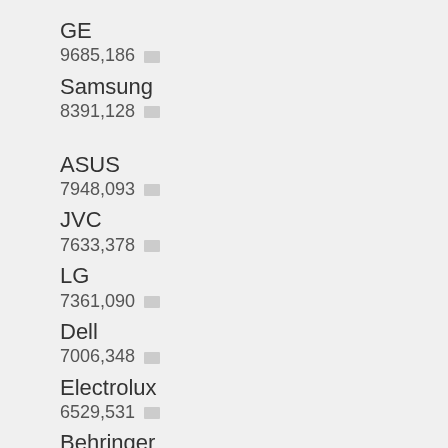GE
9685,186
Samsung
8391,128
ASUS
7948,093
JVC
7633,378
LG
7361,090
Dell
7006,348
Electrolux
6529,531
Behringer
6459,850